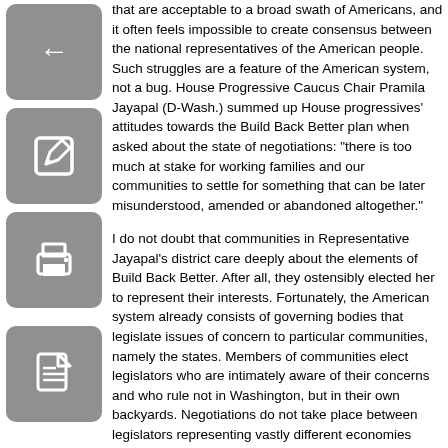that are acceptable to a broad swath of Americans, and it often feels impossible to create consensus between the national representatives of the American people. Such struggles are a feature of the American system, not a bug. House Progressive Caucus Chair Pramila Jayapal (D-Wash.) summed up House progressives' attitudes towards the Build Back Better plan when asked about the state of negotiations: "there is too much at stake for working families and our communities to settle for something that can be later misunderstood, amended or abandoned altogether."
I do not doubt that communities in Representative Jayapal's district care deeply about the elements of Build Back Better. After all, they ostensibly elected her to represent their interests. Fortunately, the American system already consists of governing bodies that legislate issues of concern to particular communities, namely the states. Members of communities elect legislators who are intimately aware of their concerns and who rule not in Washington, but in their own backyards. Negotiations do not take place between legislators representing vastly different economies nearly unrecognizable to one another but between those representing neighboring counties. This is not to suggest that all states are homogenous, but there is certainly more homogeneity within states than between them. State legislators are empowered to institute programs desired by the citizens within their jurisdictions. If citizens do not like the laws and